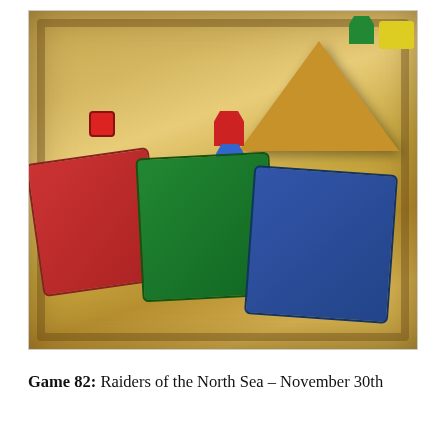[Figure (photo): Overhead photograph of a board game in progress. The board has an Egyptian theme with a golden sandy appearance and concentric track rings. A large tan pyramid model sits in the upper-center. Colorful meeple playing pieces (red, blue, purple, black) are stacked in the center. A white castle piece is to the right. A small red die is on the left side. Several player boards/cards in red, green, and blue are spread around the lower portion of the board. A green meeple and yellow piece are visible in the top right corner.]
Game 82: Raiders of the North Sea – November 30th